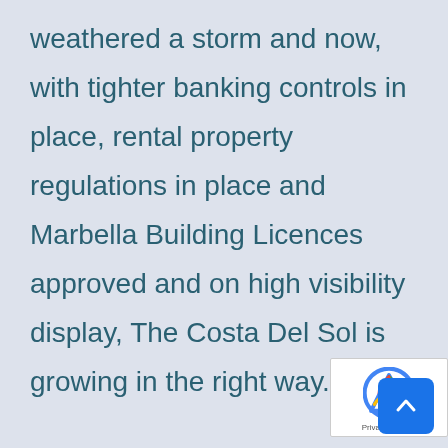weathered a storm and now, with tighter banking controls in place, rental property regulations in place and Marbella Building Licences approved and on high visibility display, The Costa Del Sol is growing in the right way. The interest was palpable at the 'A Place in the Sun Expo' last weekend. With the Show moving to London from May 11th to 13th, many buyers